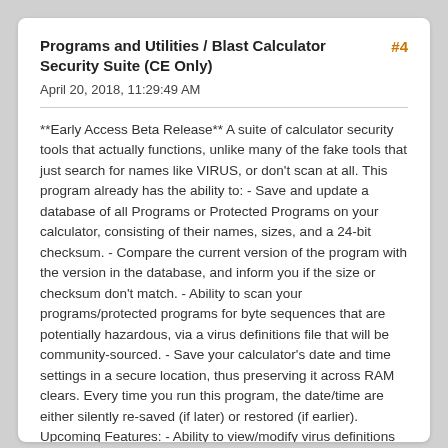Programs and Utilities / Blast Calculator Security Suite (CE Only)
April 20, 2018, 11:29:49 AM
**Early Access Beta Release** A suite of calculator security tools that actually functions, unlike many of the fake tools that just search for names like VIRUS, or don't scan at all. This program already has the ability to: - Save and update a database of all Programs or Protected Programs on your calculator, consisting of their names, sizes, and a 24-bit checksum. - Compare the current version of the program with the version in the database, and inform you if the size or checksum don't match. - Ability to scan your programs/protected programs for byte sequences that are potentially hazardous, via a virus definitions file that will be community-sourced. - Save your calculator's date and time settings in a secure location, thus preserving it across RAM clears. Every time you run this program, the date/time are either silently re-saved (if later) or restored (if earlier). Upcoming Features: - Ability to view/modify virus definitions on calc. - A firewall to integrate with any networking protocols devised for the CE. - Program running hook to allow the virus scan or checksum scan to be run on a specific program before it runs (disable-able)